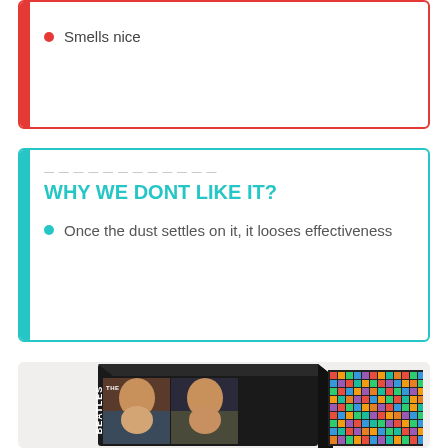Smells nice
WHY WE DONT LIKE IT?
Once the dust settles on it, it looses effectiveness
[Figure (photo): Product photo of The Beatles LEGO Art set box alongside a pixel art panel showing a colorful pixel pattern]